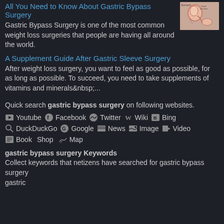All You Need to Know About Gastric Bypass Surgery
Gastric Bypass Surgery is one of the most common weight loss surgeries that people are having all around the world.
[Figure (illustration): Medical illustration of gastric bypass surgery anatomy]
A Supplement Guide After Gastric Sleeve Surgery
After weight loss surgery, you want to feel as good as possible, for as long as possible. To succeed, you need to take supplements of vitamins and minerals ...
Quick search gastric bypass surgery on following websites.
Youtube Facebook Twitter Wiki Bing
DuckDuckGo Google News Image Video
Book Shop Map
gastric bypass surgery Keywords
Collect keywords that netizens have searched for gastric bypass surgery
gastric